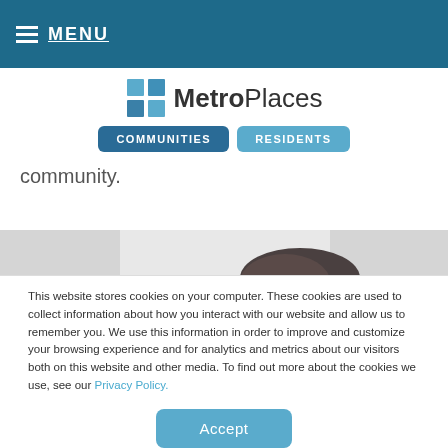MENU
[Figure (logo): MetroPlaces logo with blue grid icon and text 'MetroPlaces', with COMMUNITIES and RESIDENTS navigation buttons]
community.
[Figure (photo): Partial photo showing top of person's head with dark hair against light background]
This website stores cookies on your computer. These cookies are used to collect information about how you interact with our website and allow us to remember you. We use this information in order to improve and customize your browsing experience and for analytics and metrics about our visitors both on this website and other media. To find out more about the cookies we use, see our Privacy Policy.
Accept